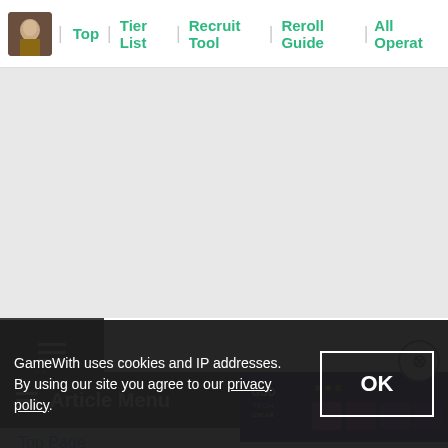Top | Tier List | Recruit Tool | Reroll Guide | All Operators
[Figure (screenshot): Gray content area (advertisement or blank space)]
[Figure (screenshot): Dark menu button with hamburger icon and 'Menu' label]
[Figure (screenshot): Article Menu overlay panel with hamburger icon and 'Article Menu' title; close button top right; Top Page link below]
[Figure (screenshot): GoodTech website screenshot thumbnail on the right side of the article menu]
Top Page
GameWith uses cookies and IP addresses. By using our site you agree to our privacy policy.
OK